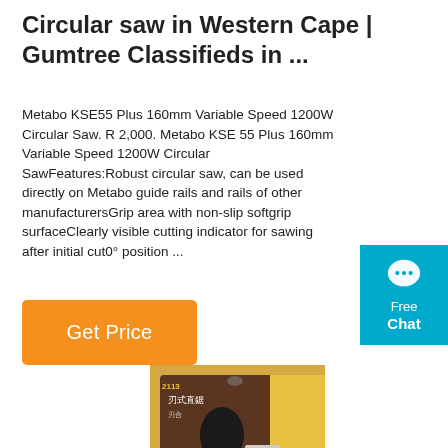Circular saw in Western Cape | Gumtree Classifieds in ...
Metabo KSE55 Plus 160mm Variable Speed 1200W Circular Saw. R 2,000. Metabo KSE 55 Plus 160mm Variable Speed 1200W Circular SawFeatures:Robust circular saw, can be used directly on Metabo guide rails and rails of other manufacturersGrip area with non-slip softgrip surfaceClearly visible cutting indicator for sawing after initial cut0° position ...
[Figure (other): Cyan chat widget with speech bubble icon, text 'Free Chat']
[Figure (other): Orange 'Get Price' button]
[Figure (photo): Product photo of a circular saw blade/tool on retail packaging with Chinese text and yellow/brown packaging]